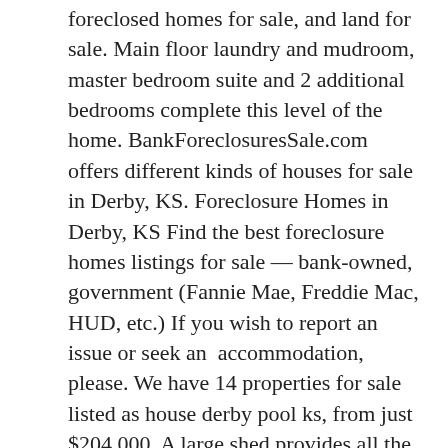foreclosed homes for sale, and land for sale. Main floor laundry and mudroom, master bedroom suite and 2 additional bedrooms complete this level of the home. BankForeclosuresSale.com offers different kinds of houses for sale in Derby, KS. Foreclosure Homes in Derby, KS Find the best foreclosure homes listings for sale — bank-owned, government (Fannie Mae, Freddie Mac, HUD, etc.) If you wish to report an issue or seek an  accommodation, please. We have 14 properties for sale listed as house derby pool ks, from just $204,000. A large shed provides all the room you need to store yard equipment - leaving tons of space in the three car garage to actually park cars! - House for sale; 13 hours ago. There are 162 active homes for sale in Derby, KS. $189,000. Over 2 homebuilders have together in the Derby, KS to produce some 8 new construction floor plans. Find